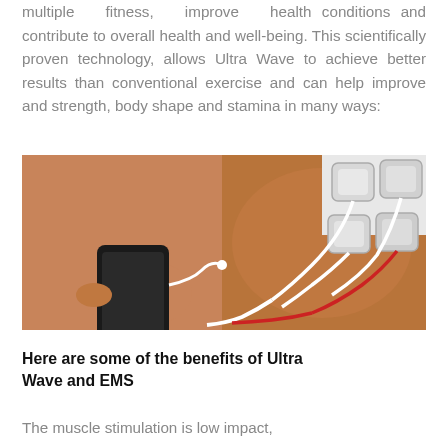multiple fitness, improve health conditions and contribute to overall health and well-being. This scientifically proven technology, allows Ultra Wave to achieve better results than conventional exercise and can help improve and strength, body shape and stamina in many ways:
[Figure (photo): A person holding a black smartphone/EMS device in their left hand, with multiple white electrode pads attached to their upper arm/shoulder connected by white and red cables.]
Here are some of the benefits of Ultra Wave and EMS
The muscle stimulation is low impact,